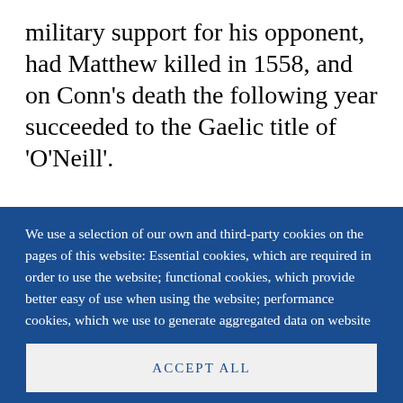military support for his opponent, had Matthew killed in 1558, and on Conn's death the following year succeeded to the Gaelic title of 'O'Neill'.
We use a selection of our own and third-party cookies on the pages of this website: Essential cookies, which are required in order to use the website; functional cookies, which provide better easy of use when using the website; performance cookies, which we use to generate aggregated data on website use and statistics; and marketing cookies, which are used to display relevant content and advertising. If you choose "ACCEPT ALL", you consent to the use of all cookies. You can accept and
ACCEPT ALL